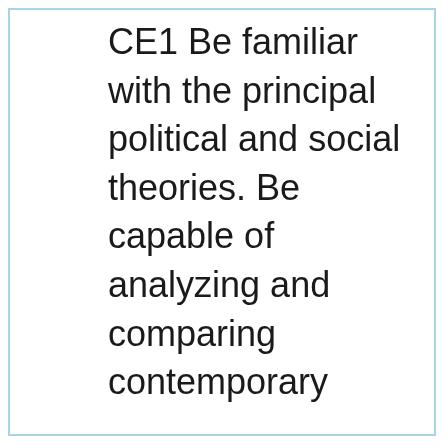CE1 Be familiar with the principal political and social theories. Be capable of analyzing and comparing contemporary